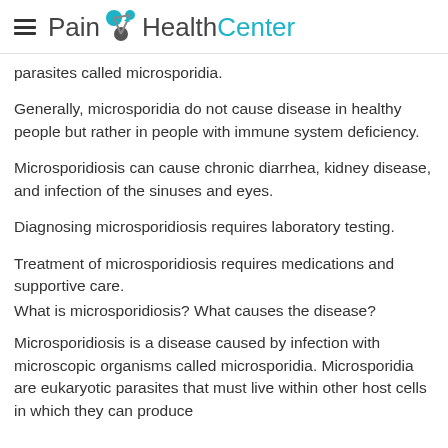Pain HealthCenter
parasites called microsporidia.
Generally, microsporidia do not cause disease in healthy people but rather in people with immune system deficiency.
Microsporidiosis can cause chronic diarrhea, kidney disease, and infection of the sinuses and eyes.
Diagnosing microsporidiosis requires laboratory testing.
Treatment of microsporidiosis requires medications and supportive care.
What is microsporidiosis? What causes the disease?
Microsporidiosis is a disease caused by infection with microscopic organisms called microsporidia. Microsporidia are eukaryotic parasites that must live within other host cells in which they can produce